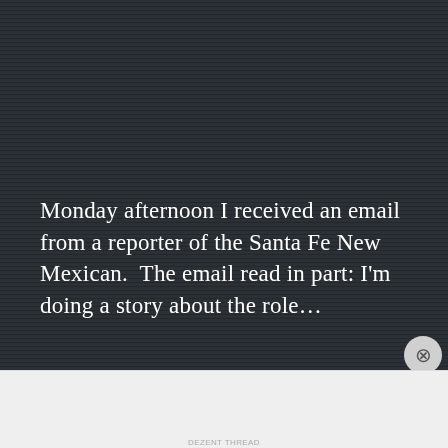[Figure (photo): Dark textured wood-grain background, dark blue-gray horizontal lines pattern filling the upper portion of the page]
Monday afternoon I received an email from a reporter of the Santa Fe New Mexican.  The email read in part: I'm doing a story about the role…
READ MORE →
Advertisements
[Figure (screenshot): Advertisement banner showing WordPress VIP logo and colorful overlapping cards graphic with a 'Learn more →' button]
DEZENT THREAD